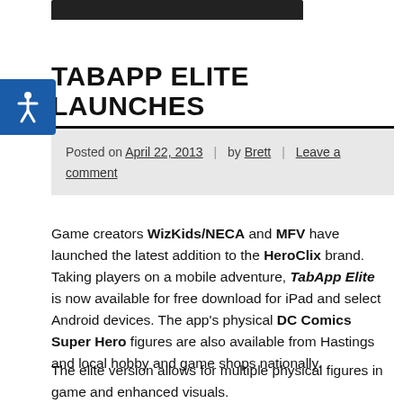[Figure (other): Dark navigation bar at top of webpage]
TABAPP ELITE LAUNCHES
Posted on April 22, 2013 | by Brett | Leave a comment
Game creators WizKids/NECA and MFV have launched the latest addition to the HeroClix brand. Taking players on a mobile adventure, TabApp Elite is now available for free download for iPad and select Android devices. The app's physical DC Comics Super Hero figures are also available from Hastings and local hobby and game shops nationally.
The elite version allows for multiple physical figures in game and enhanced visuals.